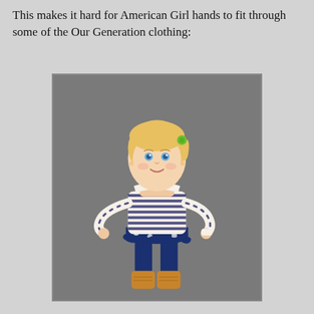This makes it hard for American Girl hands to fit through some of the Our Generation clothing:
[Figure (photo): A doll wearing a striped top that appears too tight, bunched up around the torso with sleeves not fully pulled down. The doll has blonde hair with a green hair tie, blue eyes, and is wearing a navy blue polka-dot skirt over navy leggings and mustard yellow boots. The background is grey.]